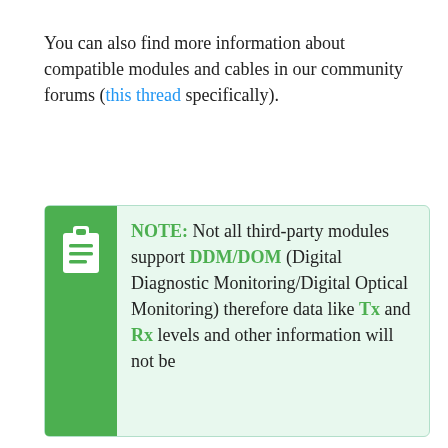You can also find more information about compatible modules and cables in our community forums (this thread specifically).
NOTE: Not all third-party modules support DDM/DOM (Digital Diagnostic Monitoring/Digital Optical Monitoring) therefore data like Tx and Rx levels and other information will not be